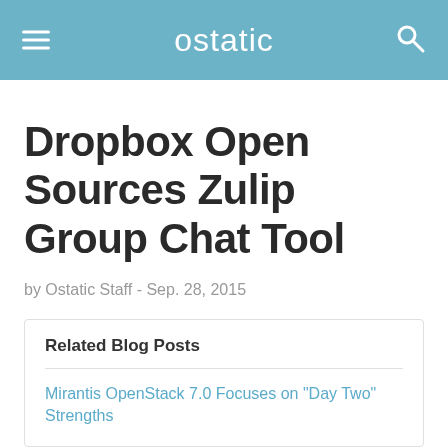ostatic
Dropbox Open Sources Zulip Group Chat Tool
by Ostatic Staff - Sep. 28, 2015
Related Blog Posts
Mirantis OpenStack 7.0 Focuses on "Day Two" Strengths